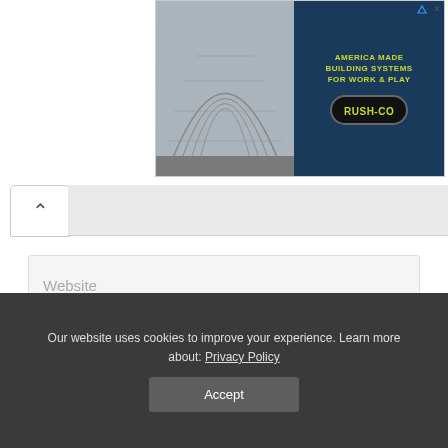[Figure (other): Advertisement banner for Rush-Co building systems, showing a metal arch building interior on the left and dark blue panel on the right with text 'AMERICA MADE BUILDING SYSTEMS FOR WORK & PLAY' and Rush-Co logo]
Website
Save my name, email, and website in this browser for the next time I comment.
Post Comment
This site uses Akismet to reduce spam. Learn how your comment data is processed.
Our website uses cookies to improve your experience. Learn more about: Privacy Policy
Accept